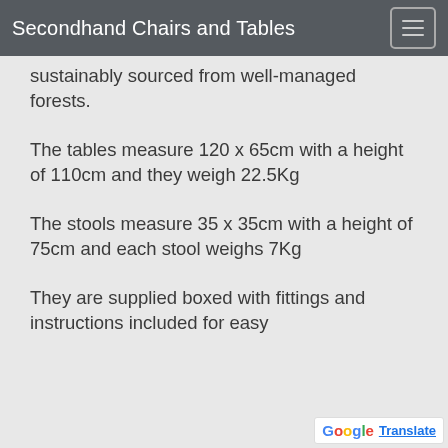Secondhand Chairs and Tables
sustainably sourced from well-managed forests.
The tables measure 120 x 65cm with a height of 110cm and they weigh 22.5Kg
The stools measure 35 x 35cm with a height of 75cm and each stool weighs 7Kg
They are supplied boxed with fittings and instructions included for easy self-assembly, along the wallet...